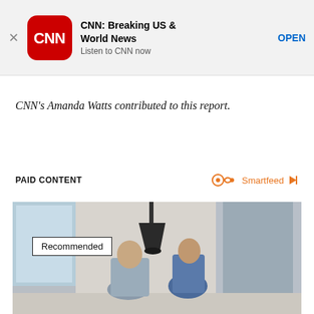[Figure (other): CNN app banner ad with red rounded-square CNN logo, title 'CNN: Breaking US & World News', subtitle 'Listen to CNN now', and OPEN link]
CNN’s Amanda Watts contributed to this report.
PAID CONTENT
Smartfeed
[Figure (photo): Office photo with two people (man and woman) in a bright modern workspace with pendant lamp; 'Recommended' badge overlaid in top-left]